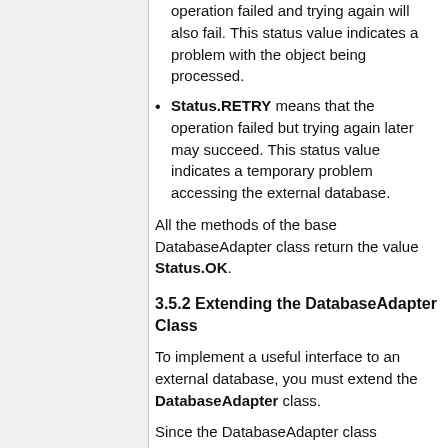Status.RETRY means that the operation failed but trying again later may succeed. This status value indicates a temporary problem accessing the external database.
All the methods of the base DatabaseAdapter class return the value Status.OK.
3.5.2 Extending the DatabaseAdapter Class
To implement a useful interface to an external database, you must extend the DatabaseAdapter class.
Since the DatabaseAdapter class implements dummy methods returning